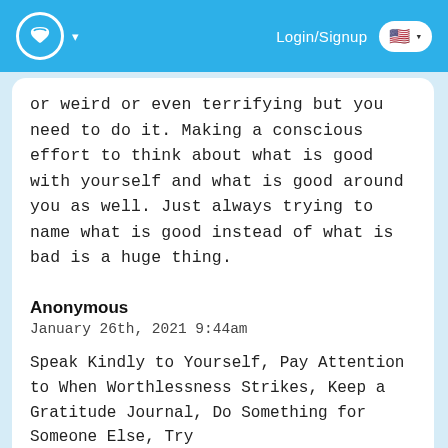[Figure (screenshot): Website header bar with blue background, white cup logo on left, Login/Signup text and US flag dropdown button on right]
or weird or even terrifying but you need to do it. Making a conscious effort to think about what is good with yourself and what is good around you as well. Just always trying to name what is good instead of what is bad is a huge thing.
Did you find this post helpful? 👍 1
Anonymous
January 26th, 2021 9:44am
Speak Kindly to Yourself, Pay Attention to When Worthlessness Strikes, Keep a Gratitude Journal, Do Something for Someone Else, Try